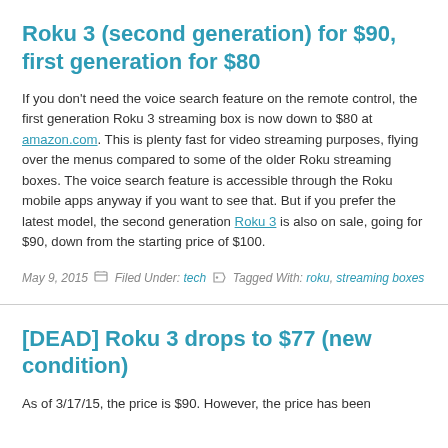Roku 3 (second generation) for $90, first generation for $80
If you don't need the voice search feature on the remote control, the first generation Roku 3 streaming box is now down to $80 at amazon.com. This is plenty fast for video streaming purposes, flying over the menus compared to some of the older Roku streaming boxes. The voice search feature is accessible through the Roku mobile apps anyway if you want to see that. But if you prefer the latest model, the second generation Roku 3 is also on sale, going for $90, down from the starting price of $100.
May 9, 2015  Filed Under: tech   Tagged With: roku, streaming boxes
[DEAD] Roku 3 drops to $77 (new condition)
As of 3/17/15, the price is $90. However, the price has been